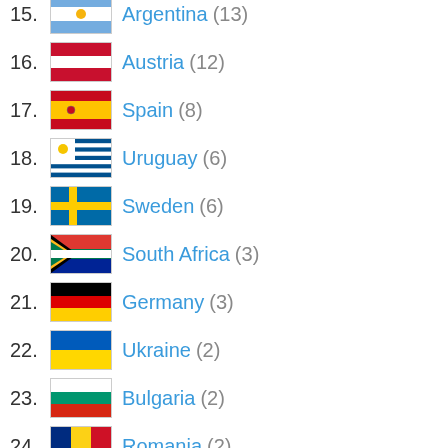15. Argentina (13)
16. Austria (12)
17. Spain (8)
18. Uruguay (6)
19. Sweden (6)
20. South Africa (3)
21. Germany (3)
22. Ukraine (2)
23. Bulgaria (2)
24. Romania (2)
25. Uganda (1)
26. Belgium (1)